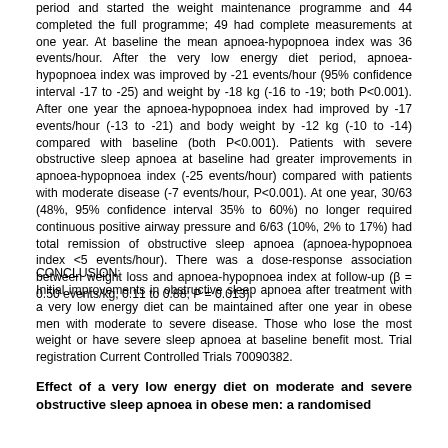period and started the weight maintenance programme and 44 completed the full programme; 49 had complete measurements at one year. At baseline the mean apnoea-hypopnoea index was 36 events/hour. After the very low energy diet period, apnoea-hypopnoea index was improved by -21 events/hour (95% confidence interval -17 to -25) and weight by -18 kg (-16 to -19; both P<0.001). After one year the apnoea-hypopnoea index had improved by -17 events/hour (-13 to -21) and body weight by -12 kg (-10 to -14) compared with baseline (both P<0.001). Patients with severe obstructive sleep apnoea at baseline had greater improvements in apnoea-hypopnoea index (-25 events/hour) compared with patients with moderate disease (-7 events/hour, P<0.001). At one year, 30/63 (48%, 95% confidence interval 35% to 60%) no longer required continuous positive airway pressure and 6/63 (10%, 2% to 17%) had total remission of obstructive sleep apnoea (apnoea-hypopnoea index <5 events/hour). There was a dose-response association between weight loss and apnoea-hypopnoea index at follow-up (β = 0.50 events/kg, 0.11 to 0.88; P = 0.013).
CONCLUSION:
Initial improvements in obstructive sleep apnoea after treatment with a very low energy diet can be maintained after one year in obese men with moderate to severe disease. Those who lose the most weight or have severe sleep apnoea at baseline benefit most. Trial registration Current Controlled Trials 70090382.
Effect of a very low energy diet on moderate and severe obstructive sleep apnoea in obese men: a randomised